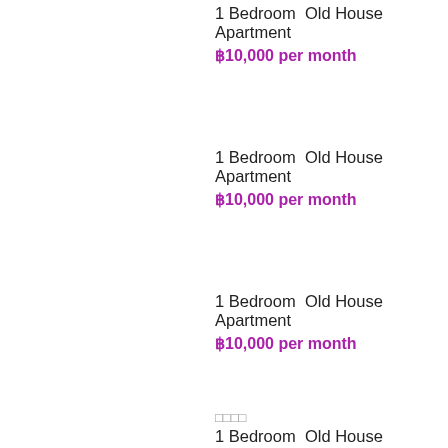1 Bedroom  Old House Apartment
฿10,000 per month
1 Bedroom  Old House Apartment
฿10,000 per month
1 Bedroom  Old House Apartment
฿10,000 per month
□□□□
1 Bedroom  Old House Apartment
฿10,000 per month